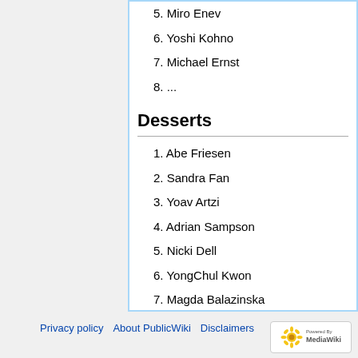5. Miro Enev
6. Yoshi Kohno
7. Michael Ernst
8. ...
Desserts
1. Abe Friesen
2. Sandra Fan
3. Yoav Artzi
4. Adrian Sampson
5. Nicki Dell
6. YongChul Kwon
7. Magda Balazinska
8. ...
Privacy policy   About PublicWiki   Disclaimers